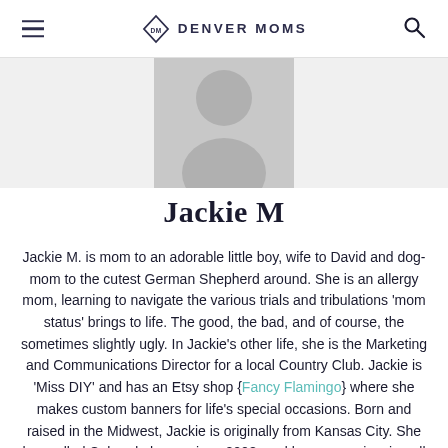Denver Moms
[Figure (illustration): Gray placeholder avatar/silhouette profile image on light gray background]
Jackie M
Jackie M. is mom to an adorable little boy, wife to David and dog-mom to the cutest German Shepherd around. She is an allergy mom, learning to navigate the various trials and tribulations 'mom status' brings to life. The good, the bad, and of course, the sometimes slightly ugly. In Jackie's other life, she is the Marketing and Communications Director for a local Country Club. Jackie is 'Miss DIY' and has an Etsy shop {Fancy Flamingo} where she makes custom banners for life's special occasions. Born and raised in the Midwest, Jackie is originally from Kansas City. She has called Colorado home since 2008, and loves experiencing all that this amazing state has to offer! A few or Jackie's favorite things include